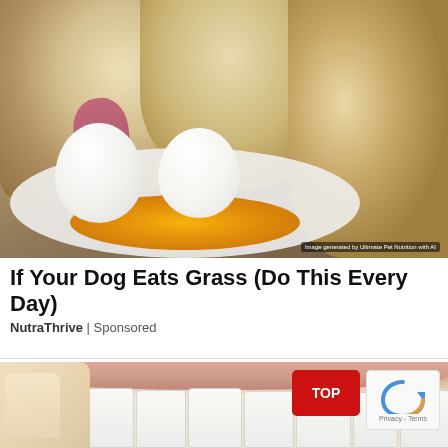[Figure (photo): Three golden-colored dogs or cats eating eggs on a plate — yolk spilled on white plate surface. AI-generated image watermark visible in bottom right corner.]
If Your Dog Eats Grass (Do This Every Day)
NutraThrive | Sponsored
[Figure (photo): Close-up of a person's mouth showing white teeth, with a hand with light-colored nails visible on the left. A red TOP button and reCAPTCHA logo with Privacy and Terms text overlay in the bottom right.]